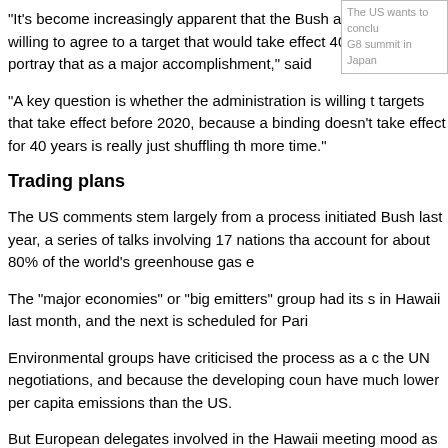[Figure (other): Small sidebar box with caption text: 'The US wants to conclude a deal at the G8 summit in Japan']
"It's become increasingly apparent that the Bush administration is willing to agree to a target that would take effect 40 years from now, and wants to portray that as a major accomplishment," said
"A key question is whether the administration is willing to agree to targets that take effect before 2020, because a binding agreement that doesn't take effect for 40 years is really just shuffling the problem off for more time."
Trading plans
The US comments stem largely from a process initiated by President Bush last year, a series of talks involving 17 nations that together account for about 80% of the world's greenhouse gas e
The "major economies" or "big emitters" group had its s in Hawaii last month, and the next is scheduled for Pari
Environmental groups have criticised the process as a d the UN negotiations, and because the developing coun have much lower per capita emissions than the US.
But European delegates involved in the Hawaii meeting mood as frank and engaging.
The EU and US are working together within the World T Organization (WTO) on a proposal that all countries sho on trade in clean energy equipment.
"Some countries, in particular the major developing cou